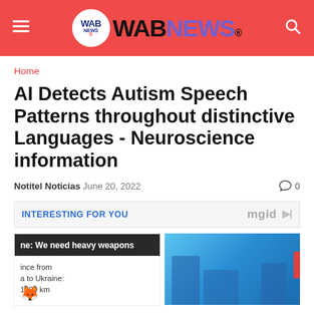WAB NEWS
Home
AI Detects Autism Speech Patterns throughout distinctive Languages - Neuroscience information
Notitel Noticias  June 20, 2022  0
INTERESTING FOR YOU
[Figure (screenshot): Two news thumbnail cards. Left card: dark overlay with headline 'ne: We need heavy weapons' and sub-text 'ince from a to Ukraine: 1000 km' with a fox emoji. Right card: blue building/architecture photo with red sidebar tab.]